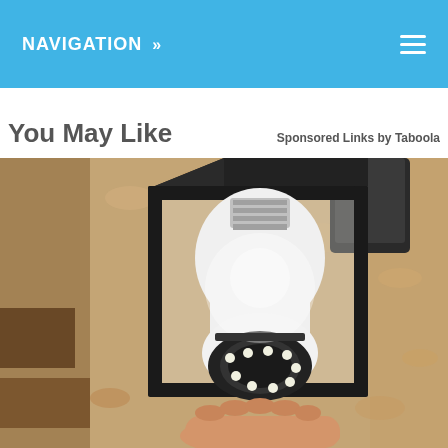NAVIGATION »
You May Like
Sponsored Links by Taboola
[Figure (photo): A light bulb security camera being installed into an outdoor wall lantern fixture mounted on a textured stucco wall. The camera is white with a circular lens and LED lights at the bottom, fitting into a black metal lantern housing.]